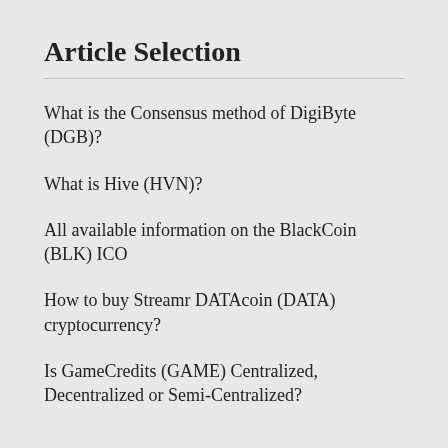Article Selection
What is the Consensus method of DigiByte (DGB)?
What is Hive (HVN)?
All available information on the BlackCoin (BLK) ICO
How to buy Streamr DATAcoin (DATA) cryptocurrency?
Is GameCredits (GAME) Centralized, Decentralized or Semi-Centralized?